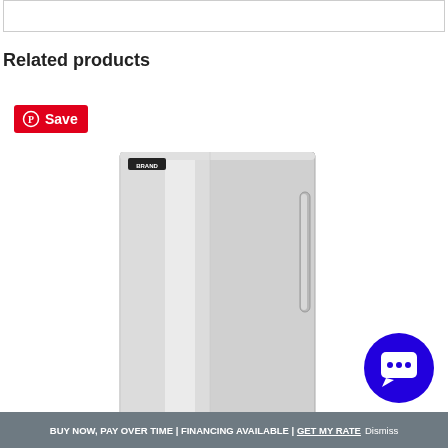Related products
[Figure (screenshot): Red Pinterest Save button with Pinterest circle icon]
[Figure (photo): Stainless steel single-door refrigerator/freezer with handle, brand badge at top left]
[Figure (other): Blue circular chat/support button with speech bubble icon]
BUY NOW, PAY OVER TIME | FINANCING AVAILABLE | GET MY RATE Dismiss